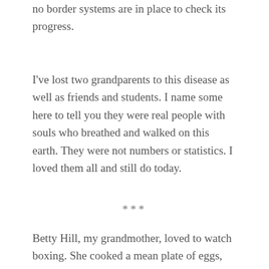no border systems are in place to check its progress.
I've lost two grandparents to this disease as well as friends and students. I name some here to tell you they were real people with souls who breathed and walked on this earth. They were not numbers or statistics. I loved them all and still do today.
***
Betty Hill, my grandmother, loved to watch boxing. She cooked a mean plate of eggs, worked harder than any woman I ever knew, and apparently talked as rapidly as I do.
Leonard Hill, my grandfather, fought in the Pacific Theater during World War II and was a deacon, a